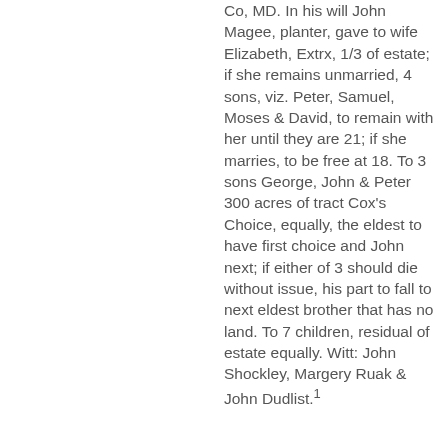Co, MD. In his will John Magee, planter, gave to wife Elizabeth, Extrx, 1/3 of estate; if she remains unmarried, 4 sons, viz. Peter, Samuel, Moses & David, to remain with her until they are 21; if she marries, to be free at 18. To 3 sons George, John & Peter 300 acres of tract Cox's Choice, equally, the eldest to have first choice and John next; if either of 3 should die without issue, his part to fall to next eldest brother that has no land. To 7 children, residual of estate equally. Witt: John Shockley, Margery Ruak & John Dudlist.1